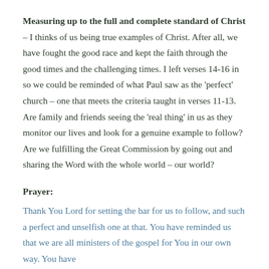Measuring up to the full and complete standard of Christ – I thinks of us being true examples of Christ. After all, we have fought the good race and kept the faith through the good times and the challenging times. I left verses 14-16 in so we could be reminded of what Paul saw as the 'perfect' church – one that meets the criteria taught in verses 11-13. Are family and friends seeing the 'real thing' in us as they monitor our lives and look for a genuine example to follow? Are we fulfilling the Great Commission by going out and sharing the Word with the whole world – our world?
Prayer:
Thank You Lord for setting the bar for us to follow, and such a perfect and unselfish one at that. You have reminded us that we are all ministers of the gospel for You in our own way. You have